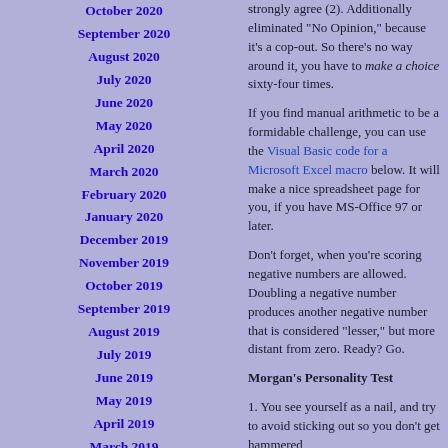October 2020
September 2020
August 2020
July 2020
June 2020
May 2020
April 2020
March 2020
February 2020
January 2020
December 2019
November 2019
October 2019
September 2019
August 2019
July 2019
June 2019
May 2019
April 2019
March 2019
February 2019
January 2019
December 2018
November 2018
October 2018
strongly agree (2). Additionally eliminated "No Opinion," because it’s a cop-out. So there’s no way around it, you have to make a choice sixty-four times.
If you find manual arithmetic to be a formidable challenge, you can use the Visual Basic code for a Microsoft Excel macro below. It will make a nice spreadsheet page for you, if you have MS-Office 97 or later.
Don’t forget, when you’re scoring negative numbers are allowed. Doubling a negative number produces another negative number that is considered “lesser,” but more distant from zero. Ready? Go.
Morgan’s Personality Test
1. You see yourself as a nail, and try to avoid sticking out so you don’t get hammered
2. You take good notes
3. Your perception of what’s going on is strongly affected by the perceptions of those around you
4. You suspect you’d be much further in life if you were better at conforming to rules and expectations, and it’s your secret shame
5. You’d rather listen to FM radio than spend time with friends